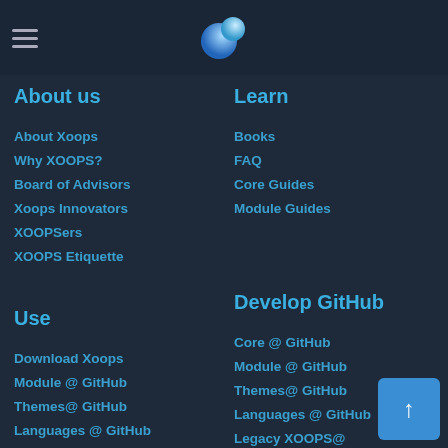XOOPS logo navigation header
About us
About Xoops
Why XOOPS?
Board of Advisors
Xoops Innovators
XOOPSers
XOOPS Etiquette
Learn
Books
FAQ
Core Guides
Module Guides
Use
Download Xoops
Module @ GitHub
Themes@ GitHub
Languages @ GitHub
Support Forums
Develop GitHub
Core @ GitHub
Module @ GitHub
Themes@ GitHub
Languages @ GitHub
Legacy XOOPS@...